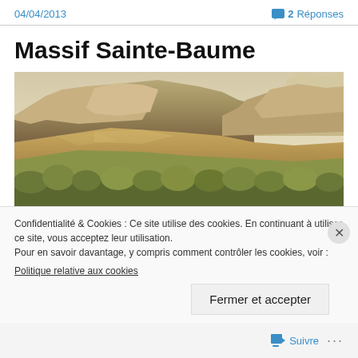04/04/2013
💬 2 Réponses
Massif Sainte-Baume
[Figure (photo): Landscape photo of the Massif de la Sainte-Baume mountain range, showing rocky limestone ridgeline and forested slopes in warm golden light.]
Confidentialité & Cookies : Ce site utilise des cookies. En continuant à utiliser ce site, vous acceptez leur utilisation.
Pour en savoir davantage, y compris comment contrôler les cookies, voir :
Politique relative aux cookies
Fermer et accepter
Suivre